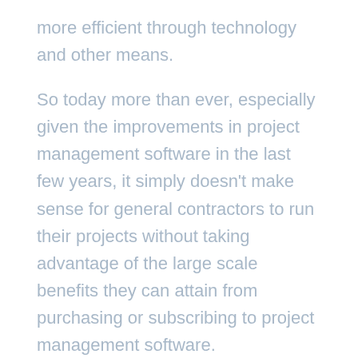more efficient through technology and other means.
So today more than ever, especially given the improvements in project management software in the last few years, it simply doesn't make sense for general contractors to run their projects without taking advantage of the large scale benefits they can attain from purchasing or subscribing to project management software.
If anyone 'needs' project management software, it's general contractors. Not because they can't manage their work well, but because they have an incredible amount of efficiencies and improvement